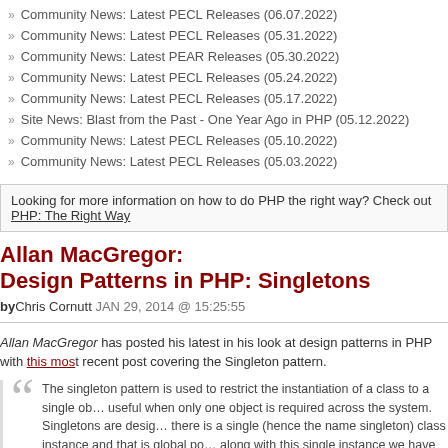>> Community News: Latest PECL Releases (06.07.2022)
>> Community News: Latest PECL Releases (05.31.2022)
>> Community News: Latest PEAR Releases (05.30.2022)
>> Community News: Latest PECL Releases (05.24.2022)
>> Community News: Latest PECL Releases (05.17.2022)
>> Site News: Blast from the Past - One Year Ago in PHP (05.12.2022)
>> Community News: Latest PECL Releases (05.10.2022)
>> Community News: Latest PECL Releases (05.03.2022)
Looking for more information on how to do PHP the right way? Check out PHP: The Right Way
Allan MacGregor: Design Patterns in PHP: Singletons
byChris Cornutt JAN 29, 2014 @ 15:25:55
Allan MacGregor has posted his latest in his look at design patterns in PHP with this most recent post covering the Singleton pattern.
The singleton pattern is used to restrict the instantiation of a class to a single object, which can be useful when only one object is required across the system. Singletons are designed in such a way so that there is a single (hence the name singleton) class instance and that is global point of access to the data, along with this single instance we have global access and lazy initialization.